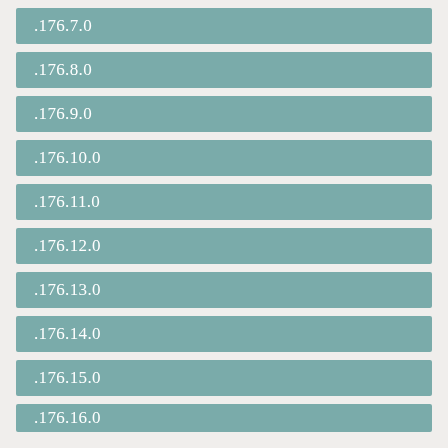.176.7.0
.176.8.0
.176.9.0
.176.10.0
.176.11.0
.176.12.0
.176.13.0
.176.14.0
.176.15.0
.176.16.0